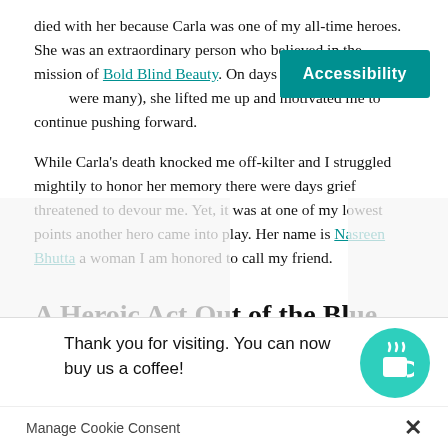died with her because Carla was one of my all-time heroes. She was an extraordinary person who believed in the mission of Bold Blind Beauty. On days when I doubted (and there were many), she lifted me up and motivated me to continue pushing forward.
While Carla's death knocked me off-kilter and I struggled mightily to honor her memory there were days grief threatened to devour me. Yet, it was at one of my lowest points another hero came into play. Her name is Nasreen Bhutta a woman I am honored to call my friend.
A Heroic Act Out of the Blue
I've known ... we've periodically ... mple...
Thank you for visiting. You can now buy us a coffee!
Manage Cookie Consent